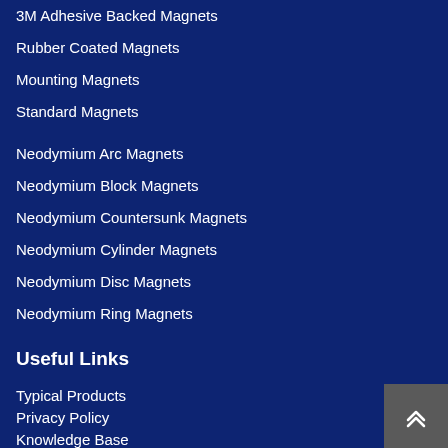3M Adhesive Backed Magnets
Rubber Coated Magnets
Mounting Magnets
Standard Magnets
Neodymium Arc Magnets
Neodymium Block Magnets
Neodymium Countersunk Magnets
Neodymium Cylinder Magnets
Neodymium Disc Magnets
Neodymium Ring Magnets
Useful Links
Typical Products
Privacy Policy
Knowledge Base